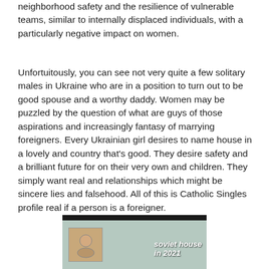neighborhood safety and the resilience of vulnerable teams, similar to internally displaced individuals, with a particularly negative impact on women.
Unfortuitously, you can see not very quite a few solitary males in Ukraine who are in a position to turn out to be good spouse and a worthy daddy. Women may be puzzled by the question of what are guys of those aspirations and increasingly fantasy of marrying foreigners. Every Ukrainian girl desires to name house in a lovely and country that's good. They desire safety and a brilliant future for on their very own and children. They simply want real and relationships which might be sincere lies and falsehood. All of this is Catholic Singles profile real if a person is a foreigner.
[Figure (photo): A photo showing a soviet-style house interior with religious icons on a teal/green wall, overlaid with white bold italic text reading 'soviet house in 2021']